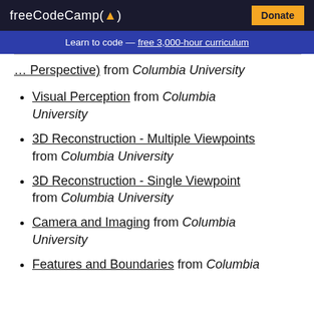freeCodeCamp(🔥) Donate
Learn to code — free 3,000-hour curriculum
Perspective) from Columbia University
Visual Perception from Columbia University
3D Reconstruction - Multiple Viewpoints from Columbia University
3D Reconstruction - Single Viewpoint from Columbia University
Camera and Imaging from Columbia University
Features and Boundaries from Columbia